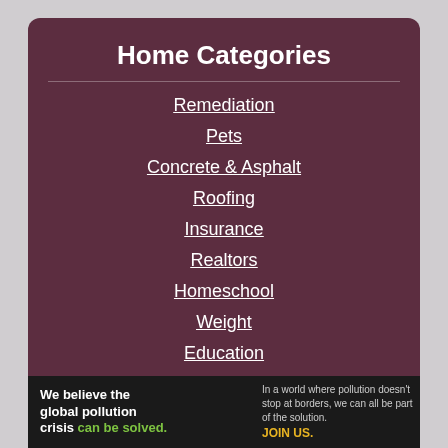Home Categories
Remediation
Pets
Concrete & Asphalt
Roofing
Insurance
Realtors
Homeschool
Weight
Education
Appliances
Pest Control
[Figure (logo): Pure Earth advertisement banner: 'We believe the global pollution crisis can be solved.' with Pure Earth logo]